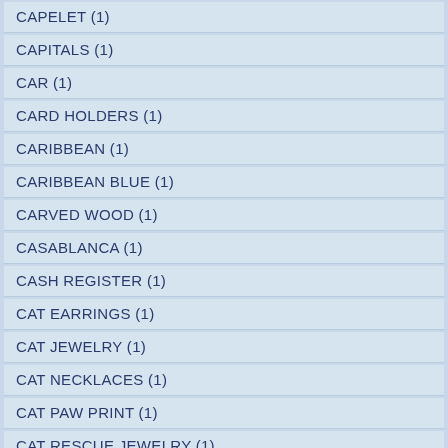CAPELET (1)
CAPITALS (1)
CAR (1)
CARD HOLDERS (1)
CARIBBEAN (1)
CARIBBEAN BLUE (1)
CARVED WOOD (1)
CASABLANCA (1)
CASH REGISTER (1)
CAT EARRINGS (1)
CAT JEWELRY (1)
CAT NECKLACES (1)
CAT PAW PRINT (1)
CAT RESCUE JEWELRY (1)
CAT'S LOVE (1)
CATHERINE WATERHOUSE (1)
CAVE PAINTINGS (1)